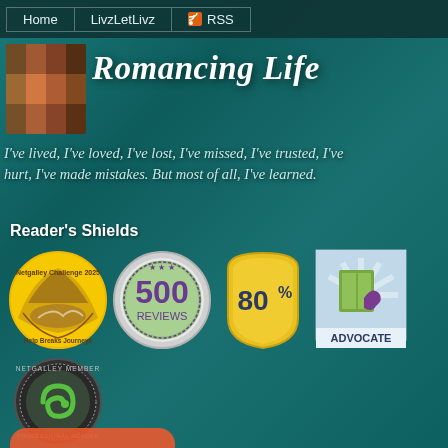Home | LivzLetLivz | RSS
Romancing Life
I've lived, I've loved, I've lost, I've missed, I've trusted, I've hurt, I've made mistakes. But most of all, I've learned.
Reader's Shields
[Figure (logo): NetGalley Challenge badge - circular yellow/gold badge with purple mountain and book design]
[Figure (logo): 500 Reviews circular badge - green circle with decorative border and stars, showing '500 REVIEWS']
[Figure (logo): 80% shield badge - yellow shield shape with '80%' text]
[Figure (logo): Advocate badge - light blue square with green book and purple rabbit, labeled ADVOCATE]
[Figure (logo): NetGalley Member Professional Reader circular badge - dark border with green swirl logo]